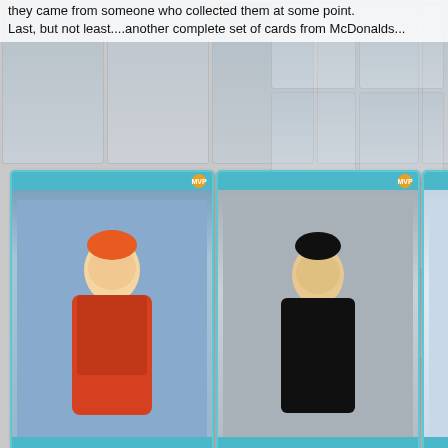they came from someone who collected them at some point. Last, but not least....another complete set of cards from McDonalds...
[Figure (photo): A grid of McDonald's promotional baseball trading cards showing players including Cal Ripken Jr., Frank Thomas, George Brett, Roberto Alomar, Nolan Ryan, Don Slaught, Darryl Strawberry, Lenny Dykstra, and Fred McGriff, with faded hockey cards in the background on the right side.]